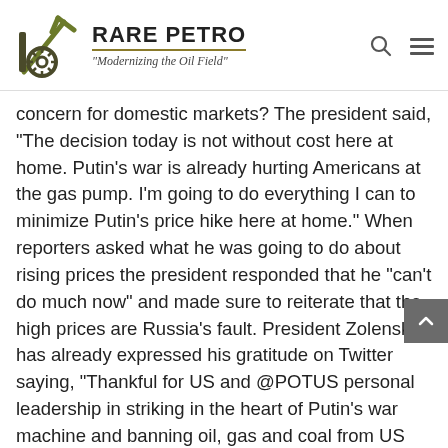RARE PETRO — "Modernizing the Oil Field"
concern for domestic markets? The president said, “The decision today is not without cost here at home. Putin’s war is already hurting Americans at the gas pump. I’m going to do everything I can to minimize Putin’s price hike here at home.” When reporters asked what he was going to do about rising prices the president responded that he “can’t do much now” and made sure to reiterate that the high prices are Russia’s fault. President Zolensky has already expressed his gratitude on Twitter saying, “Thankful for US and @POTUS personal leadership in striking in the heart of Putin’s war machine and banning oil, gas and coal from US market. Encourage other countries and leaders to follow.” Despite Zolensky’s thanks, those reporters were right to question domestic